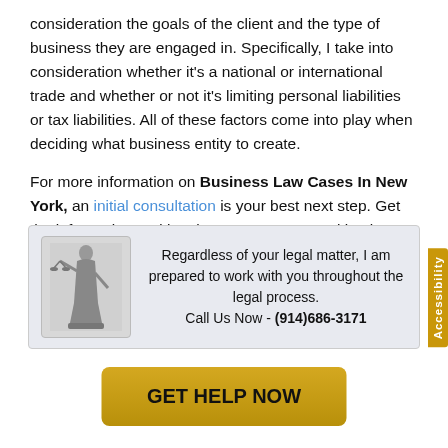consideration the goals of the client and the type of business they are engaged in. Specifically, I take into consideration whether it's a national or international trade and whether or not it's limiting personal liabilities or tax liabilities. All of these factors come into play when deciding what business entity to create.
For more information on Business Law Cases In New York, an initial consultation is your best next step. Get the information and legal answers you're seeking by calling (914) 686-3171 today.
[Figure (illustration): Lady Justice statue figure in grayscale]
Regardless of your legal matter, I am prepared to work with you throughout the legal process. Call Us Now - (914)686-3171
GET HELP NOW